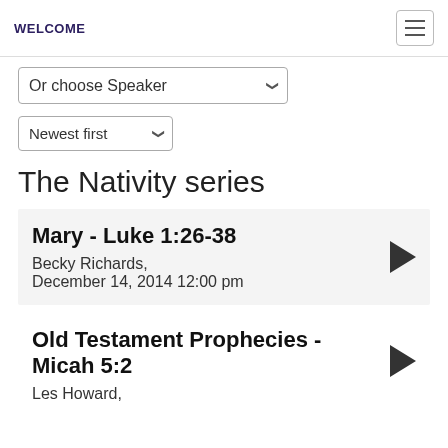WELCOME
Or choose Speaker
Newest first
The Nativity series
Mary - Luke 1:26-38
Becky Richards,
December 14, 2014 12:00 pm
Old Testament Prophecies - Micah 5:2
Les Howard,